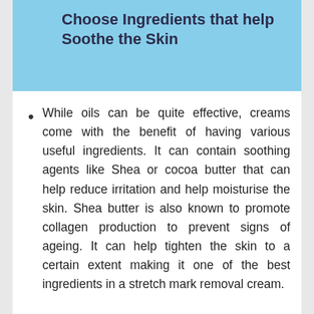Choose Ingredients that help Soothe the Skin
While oils can be quite effective, creams come with the benefit of having various useful ingredients. It can contain soothing agents like Shea or cocoa butter that can help reduce irritation and help moisturise the skin. Shea butter is also known to promote collagen production to prevent signs of ageing. It can help tighten the skin to a certain extent making it one of the best ingredients in a stretch mark removal cream.